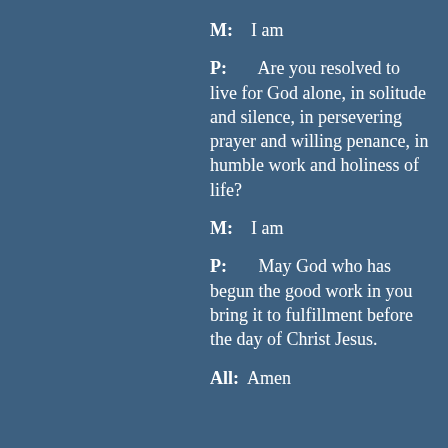M:    I am
P:       Are you resolved to live for God alone, in solitude and silence, in persevering prayer and willing penance, in humble work and holiness of life?
M:    I am
P:       May God who has begun the good work in you bring it to fulfillment before the day of Christ Jesus.
All:  Amen